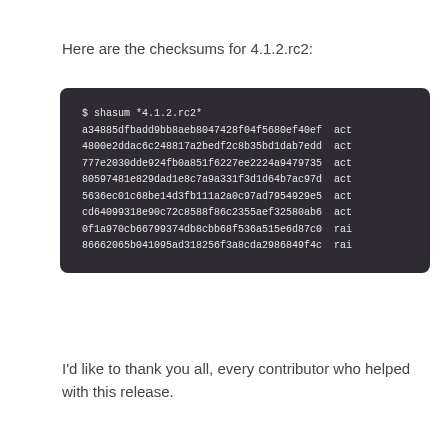Here are the checksums for 4.1.2.rc2:
[Figure (screenshot): Dark terminal/code block showing shasum output for 4.1.2.rc2 with multiple hash values followed by partial filenames starting with 'act' or 'rai']
I'd like to thank you all, every contributor who helped with this release.